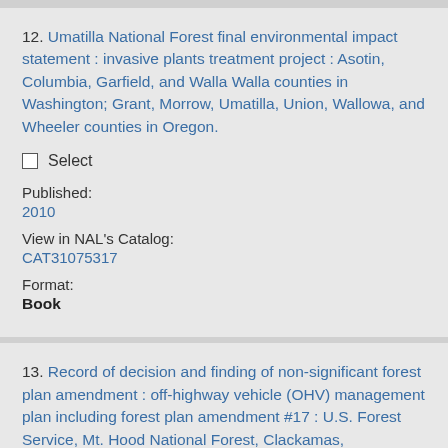12. Umatilla National Forest final environmental impact statement : invasive plants treatment project : Asotin, Columbia, Garfield, and Walla Walla counties in Washington; Grant, Morrow, Umatilla, Union, Wallowa, and Wheeler counties in Oregon.
Select
Published:
2010
View in NAL's Catalog:
CAT31075317
Format:
Book
13. Record of decision and finding of non-significant forest plan amendment : off-highway vehicle (OHV) management plan including forest plan amendment #17 : U.S. Forest Service, Mt. Hood National Forest, Clackamas, Multnomah,